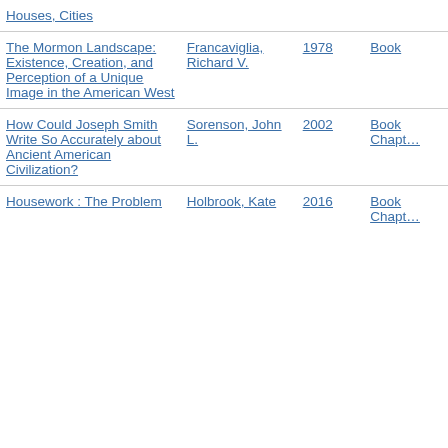| Title | Author | Year | Type |
| --- | --- | --- | --- |
| Houses, Cities |  |  |  |
| The Mormon Landscape: Existence, Creation, and Perception of a Unique Image in the American West | Francaviglia, Richard V. | 1978 | Book |
| How Could Joseph Smith Write So Accurately about Ancient American Civilization? | Sorenson, John L. | 2002 | Book Chapter |
| Housework : The Problem | Holbrook, Kate | 2016 | Book Chapt… |